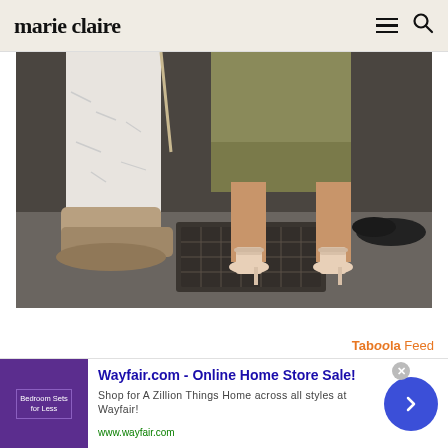marie claire
[Figure (photo): Close-up photo of legs and feet of two people standing on a city sidewalk near a decorative iron grate. Person on left wearing white baggy pants and tan suede chelsea boots. Person on right wearing an olive/khaki skirt and nude ankle-strap heeled sandals. A third person with black loafers is visible in the background.]
Taboola Feed
[Figure (screenshot): Wayfair.com advertisement. Title: 'Wayfair.com - Online Home Store Sale!' Body: 'Shop for A Zillion Things Home across all styles at Wayfair!' URL: www.wayfair.com. Thumbnail shows purple background with bedroom furniture text. Blue circular arrow button on right.]